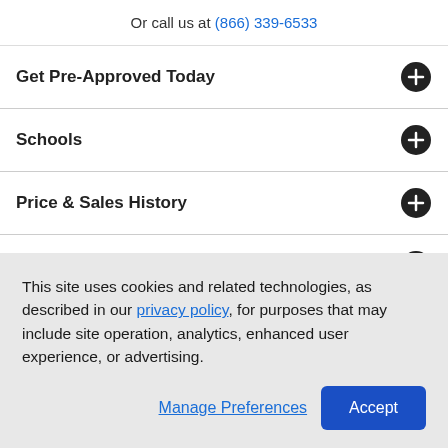Or call us at (866) 339-6533
Get Pre-Approved Today
Schools
Price & Sales History
Tax History
This site uses cookies and related technologies, as described in our privacy policy, for purposes that may include site operation, analytics, enhanced user experience, or advertising.
Manage Preferences
Accept